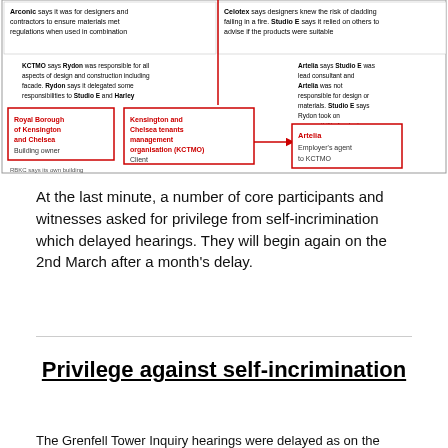[Figure (infographic): Diagram showing relationships and blame attributions between parties in the Grenfell Tower refurbishment: Arconic, Celotex, KCTMO, Studio E, Artelia, Royal Borough of Kensington and Chelsea (Building owner), Kensington and Chelsea tenants management organisation (KCTMO) (Client), and Artelia (Employer's agent to KCTMO). Each party's statements about responsibilities are shown in text boxes with red bordered boxes for key entities and arrows showing relationships.]
At the last minute, a number of core participants and witnesses asked for privilege from self-incrimination which delayed hearings. They will begin again on the 2nd March after a month's delay.
Privilege against self-incrimination
The Grenfell Tower Inquiry hearings were delayed as on the